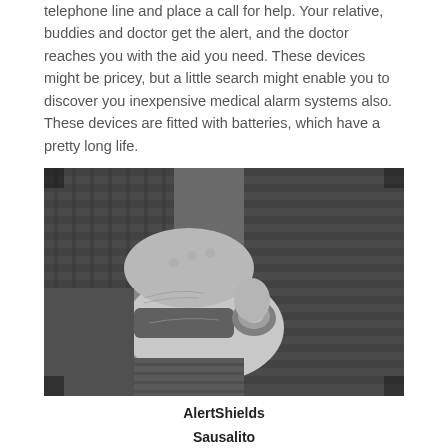telephone line and place a call for help. Your relative, buddies and doctor get the alert, and the doctor reaches you with the aid you need. These devices might be pricey, but a little search might enable you to discover you inexpensive medical alarm systems also. These devices are fitted with batteries, which have a pretty long life.
[Figure (photo): Black and white photograph of elderly hands pressing a button on a medical alert wristband worn on a wrist. The person is wearing a plaid or patterned jacket.]
AlertShields
Sausalito